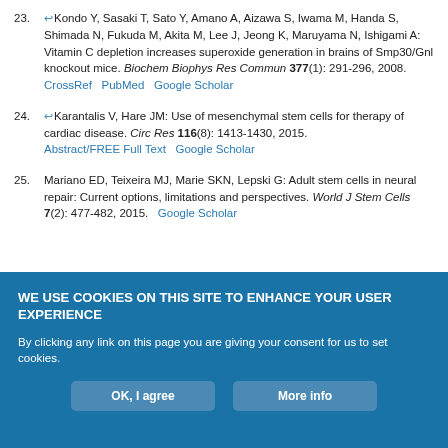23. Kondo Y, Sasaki T, Sato Y, Amano A, Aizawa S, Iwama M, Handa S, Shimada N, Fukuda M, Akita M, Lee J, Jeong K, Maruyama N, Ishigami A: Vitamin C depletion increases superoxide generation in brains of Smp30/Gnl knockout mice. Biochem Biophys Res Commun 377(1): 291-296, 2008. CrossRef PubMed Google Scholar
24. Karantalis V, Hare JM: Use of mesenchymal stem cells for therapy of cardiac disease. Circ Res 116(8): 1413-1430, 2015. Abstract/FREE Full Text Google Scholar
25. Mariano ED, Teixeira MJ, Marie SKN, Lepski G: Adult stem cells in neural repair: Current options, limitations and perspectives. World J Stem Cells 7(2): 477-482, 2015. Google Scholar
WE USE COOKIES ON THIS SITE TO ENHANCE YOUR USER EXPERIENCE
By clicking any link on this page you are giving your consent for us to set cookies.
OK, I agree   More info